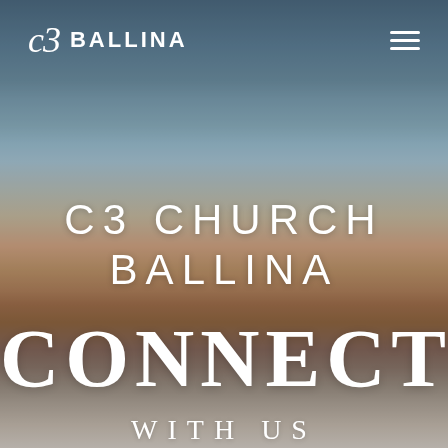[Figure (photo): Background photo of a coastal sunset sky with warm orange, pink, and blue tones, ocean or misty horizon visible at the bottom]
c3 BALLINA
C3 CHURCH BALLINA
CONNECT
WITH US